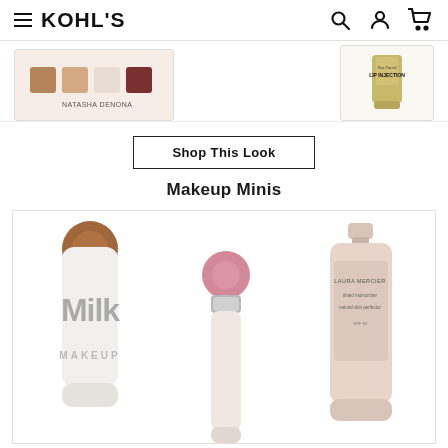Kohl's
[Figure (photo): Natasha Denona eyeshadow palette with bronze and nude shades]
[Figure (photo): Too Faced Lip Injection lip gloss tube in gold packaging]
Shop This Look
Makeup Minis
[Figure (photo): Milk Makeup bronzer stick with white cylindrical packaging]
[Figure (photo): Pink blush or highlighter stick in silver and cream packaging]
[Figure (photo): Laura Mercier tinted moisturizer tube in beige/pink packaging]